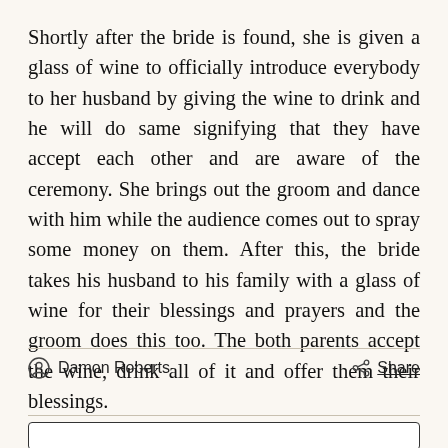Shortly after the bride is found, she is given a glass of wine to officially introduce everybody to her husband by giving the wine to drink and he will do same signifying that they have accept each other and are aware of the ceremony. She brings out the groom and dance with him while the audience comes out to spray some money on them. After this, the bride takes his husband to his family with a glass of wine for their blessings and prayers and the groom does this too. The both parents accept the wine, drink all of it and offer them their blessings.
Damon Roberts
Share